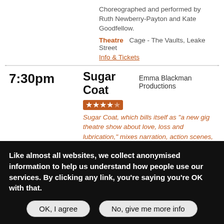Choreographed and performed by Ruth Newberry-Payton and Kate Goodfellow.
Theatre    Cage - The Vaults, Leake Street
Info & Tickets
7:30pm
Sugar Coat    Emma Blackman Productions
Sugar Coat, which bills itself as "a new gig theatre show about love, loss and lubrication," mixes narration, action scenes, and original songs to tell the story of its protagonist's sexual journey through her teens and twenties. There is open, honest and graphic discussion of subjects that should be discussed more, but the show rightly opens with a trigger warning.
Read the full review.
A new live music play about love, loss and lubrication. Based on a true story and pop-punk feminism. <br/>From the producers of the Fringe First award
Like almost all websites, we collect anonymised information to help us understand how people use our services. By clicking any link, you're saying you're OK with that.
OK, I agree
No, give me more info